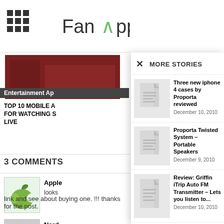Fan Appic
[Figure (screenshot): Grid/menu icon (3x3 dots) on the left side of the header]
[Figure (logo): Fan Appic logo in center of header with green caret/hat symbol]
[Figure (screenshot): Search magnifying glass icon on right side of header]
[Figure (photo): Partially visible article image in background - reddish/dark background]
Entertainment Ap
TOP 10 MOBILE A FOR WATCHING S LIVE
3 COMMENTS
[Figure (illustration): Green apple avatar icon for Apple commenter]
Apple
looks
[Figure (illustration): Gray person/silhouette avatar icon for Nerd commenter]
Nerd
I like t
link and see about buying one. !!! thanks for the post.
MORE STORIES
Three new iphone 4 cases by Proporta reviewed
December 10, 2010
Proporta Twisted System – Portable Speakers
December 9, 2010
Review: Griffin iTrip Auto FM Transmitter – Lets you listen to...
December 10, 2010